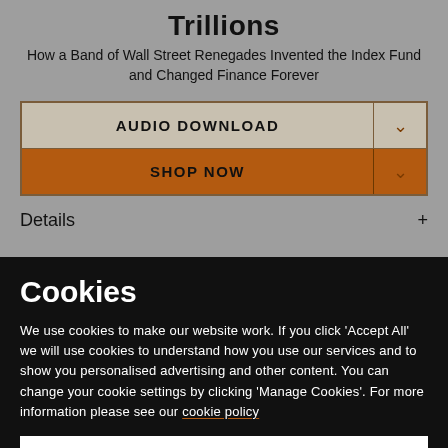Trillions
How a Band of Wall Street Renegades Invented the Index Fund and Changed Finance Forever
AUDIO DOWNLOAD
SHOP NOW
Details
Cookies
We use cookies to make our website work. If you click 'Accept All' we will use cookies to understand how you use our services and to show you personalised advertising and other content. You can change your cookie settings by clicking 'Manage Cookies'. For more information please see our cookie policy
MANAGE COOKIE SETTINGS